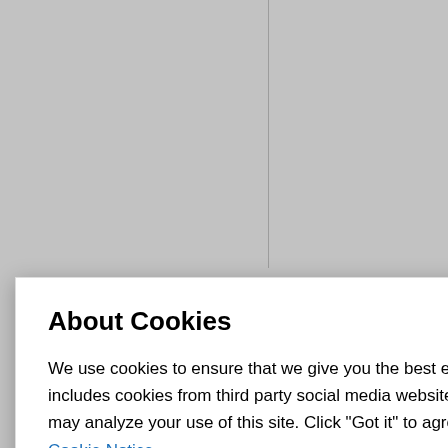http://www.neule...
The STOP sets f... of a .biz domain... over the registrat... Intellectual Prope... by Registry Oper... level domain has...
with... gistra... sets f... nd a... erne... on tha... a ca... ne o... erato... main... d in c...
TE P...
y. We... s effe... difica... u ac... Agre... us.
TES...
About Cookies
We use cookies to ensure that we give you the best experience on our website. This includes cookies from third party social media websites and advertising cookies that may analyze your use of this site. Click "Got it" to agree or "Cookie Settings" to opt out.
Cookie Notice
Got It
Cookies Settings